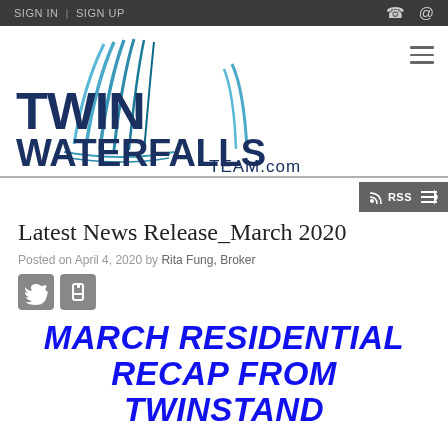SIGN IN | SIGN UP
[Figure (logo): Twin Waterfalls Team.com logo with stylized waterfall graphic in blue tones]
Latest News Release_March 2020
Posted on April 4, 2020 by Rita Fung, Broker
[Figure (illustration): Twitter and Facebook social media icons]
MARCH RESIDENTIAL RECAP FROM TWINSTAND